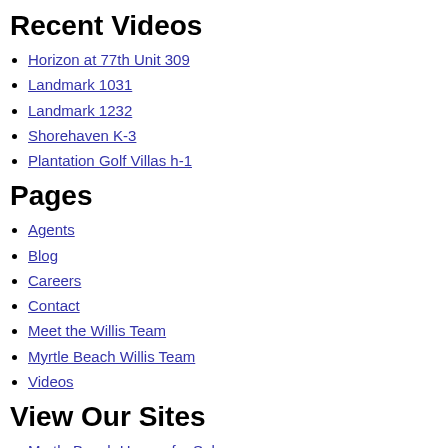Recent Videos
Horizon at 77th Unit 309
Landmark 1031
Landmark 1232
Shorehaven K-3
Plantation Golf Villas h-1
Pages
Agents
Blog
Careers
Contact
Meet the Willis Team
Myrtle Beach Willis Team
Videos
View Our Sites
Myrtle Beach Homes for Sale